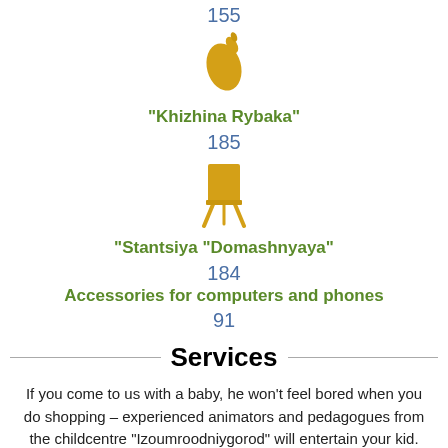155
[Figure (illustration): Golden/yellow lemon icon]
“Khizhina Rybaka”
185
[Figure (illustration): Golden/yellow easel/board icon]
“Stantsiya “Domashnyaya”
184
Accessories for computers and phones
91
Services
If you come to us with a baby, he won’t feel bored when you do shopping – experienced animators and pedagogues from the childcentre “Izoumroodniygorod” will entertain your kid. While